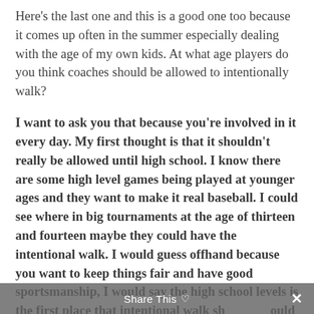Here's the last one and this is a good one too because it comes up often in the summer especially dealing with the age of my own kids. At what age players do you think coaches should be allowed to intentionally walk?
I want to ask you that because you're involved in it every day. My first thought is that it shouldn't really be allowed until high school. I know there are some high level games being played at younger ages and they want to make it real baseball. I could see where in big tournaments at the age of thirteen and fourteen maybe they could have the intentional walk. I would guess offhand because you want to keep things fair and have good sportsmanship, I would say the high school levels is the first place that intentional walk should be allowed. I'm anxious to hear your answer on this...
Share This